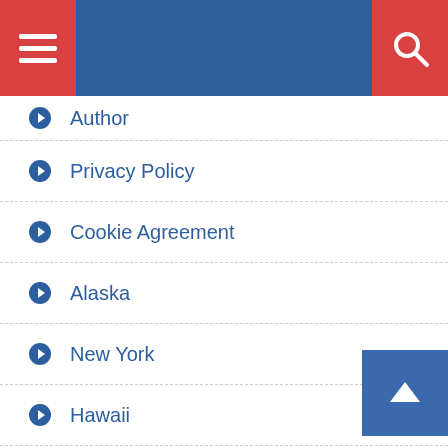Navigation header with menu and search buttons
Author
Privacy Policy
Cookie Agreement
Alaska
New York
Hawaii
California
Oregon